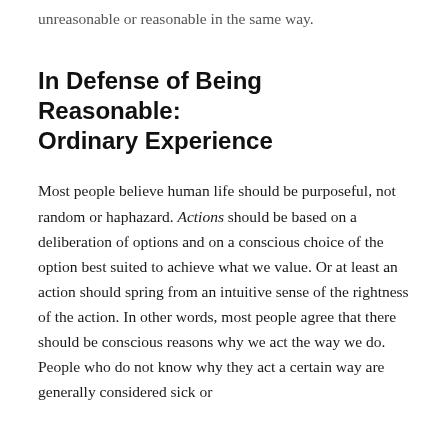unreasonable or reasonable in the same way.
In Defense of Being Reasonable: Ordinary Experience
Most people believe human life should be purposeful, not random or haphazard. Actions should be based on a deliberation of options and on a conscious choice of the option best suited to achieve what we value. Or at least an action should spring from an intuitive sense of the rightness of the action. In other words, most people agree that there should be conscious reasons why we act the way we do. People who do not know why they act a certain way are generally considered sick or